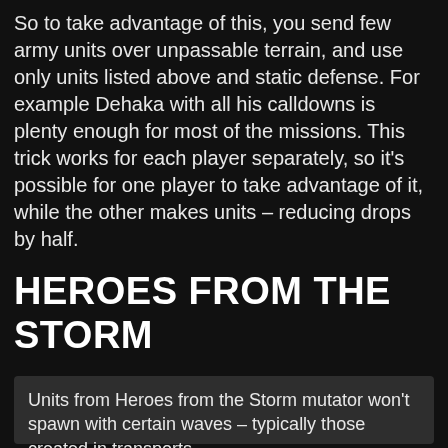So to take advantage of this, you send few army units over unpassable terrain, and use only units listed above and static defense. For example Dehaka with all his calldowns is plenty enough for most of the missions. This trick works for each player separately, so it's possible for one player to take advantage of it, while the other makes units – reducing drops by half.
HEROES FROM THE STORM
Units from Heroes from the Storm mutator won't spawn with certain waves – typically those created in transports.